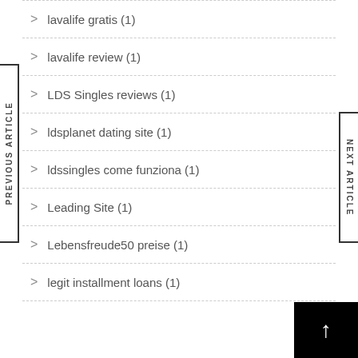lavalife gratis (1)
lavalife review (1)
LDS Singles reviews (1)
ldsplanet dating site (1)
ldssingles come funziona (1)
Leading Site (1)
Lebensfreude50 preise (1)
legit installment loans (1)